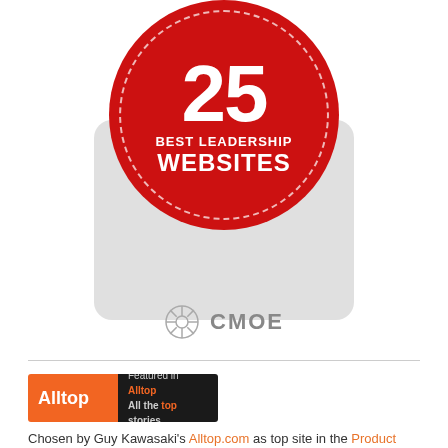[Figure (logo): Red circular badge with dashed white border showing '25 BEST LEADERSHIP WEBSITES' text, mounted on a gray rounded rectangle with CMOE logo at the bottom]
[Figure (logo): Alltop badge: orange left panel with 'Alltop' text, black right panel with 'Featured in Alltop All the top stories']
Chosen by Guy Kawasaki's Alltop.com as top site in the Product